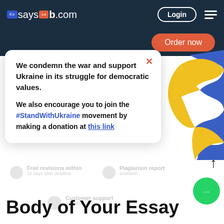[Figure (screenshot): EssaysLab.com website navigation bar with logo, Login button, and hamburger menu on dark navy background]
[Figure (screenshot): Order now orange button on dark navy bar]
[Figure (illustration): Ukrainian flag ribbon decoration with blue and yellow flowing bands]
We condemn the war and support Ukraine in its struggle for democratic values.

We also encourage you to join the #StandWithUkraine movement by making a donation at this link
[Figure (screenshot): Faded background showing website features: free revisions 10 days after deadline, plagiarism report, customer support available 24/7]
Body of Your Essay